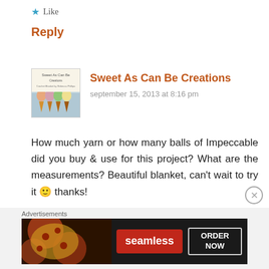★ Like
Reply
[Figure (photo): Avatar image showing Sweet As Can Be Creations book cover with ice cream cones]
Sweet As Can Be Creations
september 15, 2013 at 8:16 pm
How much yarn or how many balls of Impeccable did you buy & use for this project? What are the measurements? Beautiful blanket, can't wait to try it 🙂 thanks!
★ Like
Reply
Advertisements
[Figure (photo): Seamless food delivery advertisement banner with pizza image, seamless logo and ORDER NOW button]